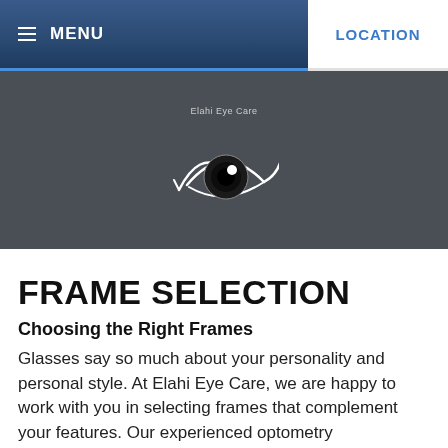MENU    LOCATION
[Figure (logo): Elahi Eye Care logo: stylized eye illustration in black and white with text 'Elahi Eye Care' above it]
FRAME SELECTION
Choosing the Right Frames
Glasses say so much about your personality and personal style. At Elahi Eye Care, we are happy to work with you in selecting frames that complement your features. Our experienced optometry professionals work closely with you to select the proper frames to fit your budget as well as your cosmetic, lifestyle, and vision needs. While working with our experienced staff enables you to select the appropriate frames, we invite